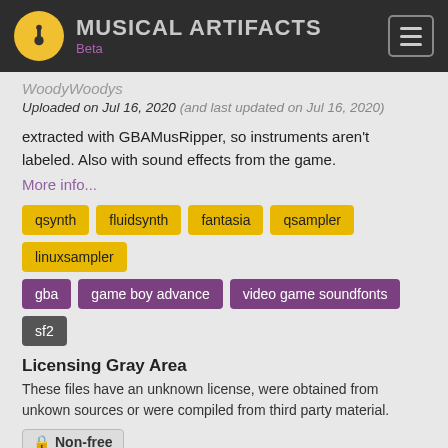MUSICAL ARTIFACTS Beta
WoodyWoodys
Uploaded on Jul 16, 2020 (and last updated on Jul 16, 2020)
extracted with GBAMusRipper, so instruments aren't labeled. Also with sound effects from the game.
More info...
qsynth
fluidsynth
fantasia
qsampler
linuxsampler
gba
game boy advance
video game soundfonts
sf2
Licensing Gray Area
These files have an unknown license, were obtained from unkown sources or were compiled from third party material.
Non-free
SpongeBob
0 ★
1,706 ↓